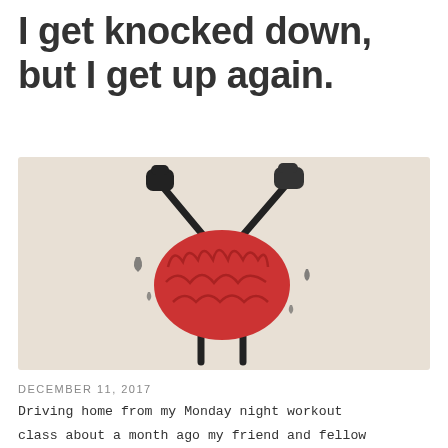I get knocked down, but I get up again.
[Figure (illustration): Cartoon illustration of a red brain character with stick-like arms raised, holding boxing gloves or small weights, on a beige/cream background. Sweat drops surround the figure, suggesting exertion or resilience.]
DECEMBER 11, 2017
Driving home from my Monday night workout class about a month ago my friend and fellow work-out partner asked me that dreaded question, the one I was hoping no one would